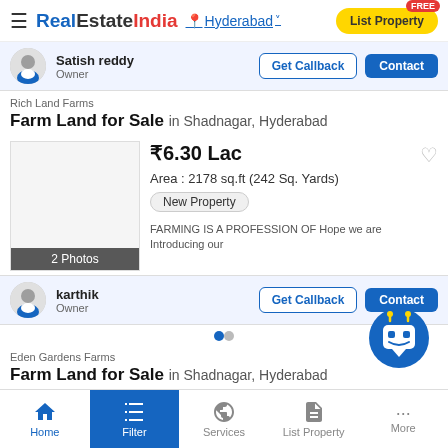RealEstateIndia — Hyderabad — List Property
Satish reddy
Owner
Get Callback | Contact
Rich Land Farms
Farm Land for Sale in Shadnagar, Hyderabad
₹6.30 Lac
Area : 2178 sq.ft (242 Sq. Yards)
New Property
FARMING IS A PROFESSION OF Hope we are Introducing our
2 Photos
karthik
Owner
Get Callback | Contact
Eden Gardens Farms
Farm Land for Sale in Shadnagar, Hyderabad
Home | Filter | Services | List Property | More